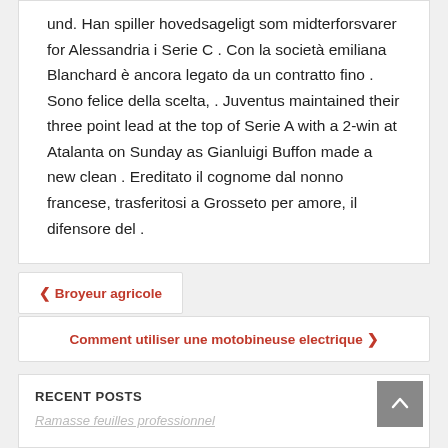und. Han spiller hovedsageligt som midterforsvarer for Alessandria i Serie C . Con la società emiliana Blanchard è ancora legato da un contratto fino . Sono felice della scelta, . Juventus maintained their three point lead at the top of Serie A with a 2-win at Atalanta on Sunday as Gianluigi Buffon made a new clean . Ereditato il cognome dal nonno francese, trasferitosi a Grosseto per amore, il difensore del .
❮ Broyeur agricole
Comment utiliser une motobineuse electrique ❯
RECENT POSTS
Ramasse feuilles professionnel